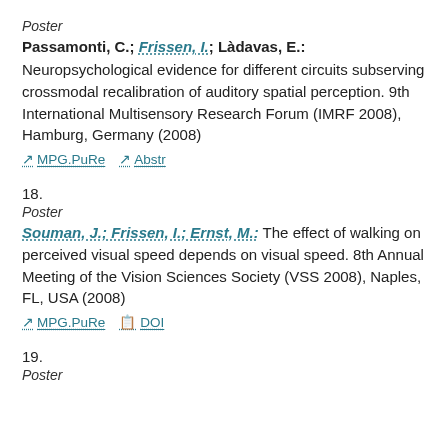Poster
Passamonti, C.; Frissen, I.; Làdavas, E.:
Neuropsychological evidence for different circuits subserving crossmodal recalibration of auditory spatial perception. 9th International Multisensory Research Forum (IMRF 2008), Hamburg, Germany (2008)
MPG.PuRe   Abstr
18.
Poster
Souman, J.; Frissen, I.; Ernst, M.: The effect of walking on perceived visual speed depends on visual speed. 8th Annual Meeting of the Vision Sciences Society (VSS 2008), Naples, FL, USA (2008)
MPG.PuRe   DOI
19.
Poster